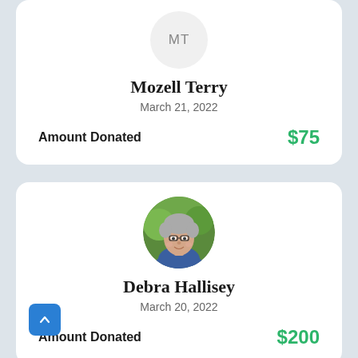[Figure (other): Circular avatar with initials MT for Mozell Terry]
Mozell Terry
March 21, 2022
Amount Donated   $75
[Figure (photo): Circular profile photo of Debra Hallisey, a woman with short gray hair and glasses, wearing a blue top, smiling outdoors]
Debra Hallisey
March 20, 2022
Amount Donated   $200